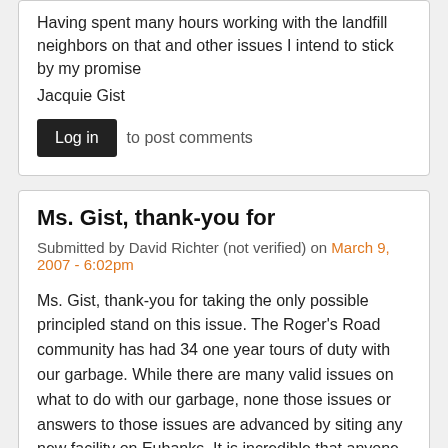Having spent many hours working with the landfill neighbors on that and other issues I intend to stick by my promise
Jacquie Gist
Log in to post comments
Ms. Gist, thank-you for
Submitted by David Richter (not verified) on March 9, 2007 - 6:02pm
Ms. Gist, thank-you for taking the only possible principled stand on this issue. The Roger's Road community has had 34 one year tours of duty with our garbage. While there are many valid issues on what to do with our garbage, none those issues or answers to those issues are advanced by siting any new facility on Eubanks. It is incredible that anyone believes that there is any justification, or rationalization for forcing more sacrifice on this community.
The lack of fairness, integrity or forward planning in this process has been glaring to date. I only hope that the other leaders of our community wake up and follow the examples